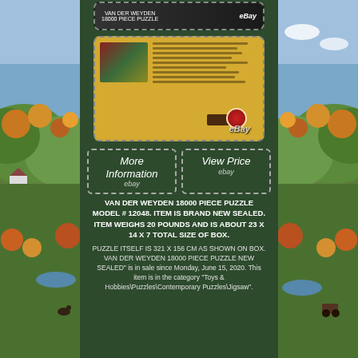[Figure (photo): eBay listing page for Van Der Weyden 18000 piece puzzle showing product photos with eBay watermarks, landscape border decoration on left and right sides]
[Figure (photo): Second product photo showing puzzle box back with text and components, eBay watermark visible]
More Information
ebay
View Price
ebay
VAN DER WEYDEN 18000 PIECE PUZZLE MODEL # 12048. ITEM IS BRAND NEW SEALED. ITEM WEIGHS 20 POUNDS AND IS ABOUT 23 X 14 X 7 TOTAL SIZE OF BOX.
PUZZLE ITSELF IS 321 X 156 CM AS SHOWN ON BOX. VAN DER WEYDEN 18000 PIECE PUZZLE NEW SEALED" is in sale since Monday, June 15, 2020. This item is in the category "Toys & Hobbies\Puzzles\Contemporary Puzzles\Jigsaw".